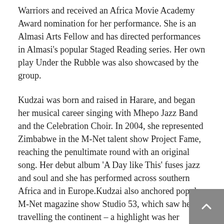Warriors and received an Africa Movie Academy Award nomination for her performance. She is an Almasi Arts Fellow and has directed performances in Almasi's popular Staged Reading series. Her own play Under the Rubble was also showcased by the group.
Kudzai was born and raised in Harare, and began her musical career singing with Mhepo Jazz Band and the Celebration Choir. In 2004, she represented Zimbabwe in the M-Net talent show Project Fame, reaching the penultimate round with an original song. Her debut album 'A Day like This' fuses jazz and soul and she has performed across southern Africa and in Europe.Kudzai also anchored popular M-Net magazine show Studio 53, which saw her travelling the continent – a highlight was her interview with Liberian president Ellen Johnson Sirleaf, Africa's first female head of state.